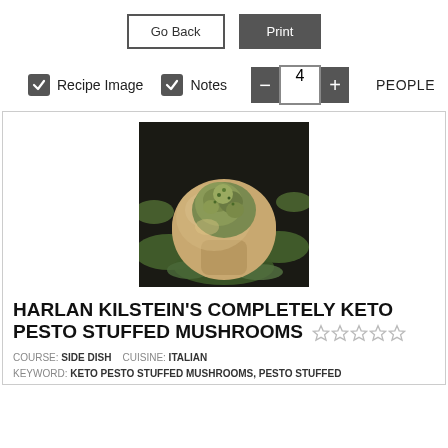[Figure (screenshot): UI controls: Go Back button and Print button]
[Figure (screenshot): Recipe image options: Recipe Image checkbox, Notes checkbox, and people count control showing 4 PEOPLE]
[Figure (photo): Photo of a keto pesto stuffed mushroom filled with pesto and surrounded by greens]
HARLAN KILSTEIN'S COMPLETELY KETO PESTO STUFFED MUSHROOMS
COURSE: SIDE DISH   CUISINE: ITALIAN
KEYWORD: KETO PESTO STUFFED MUSHROOMS, PESTO STUFFED